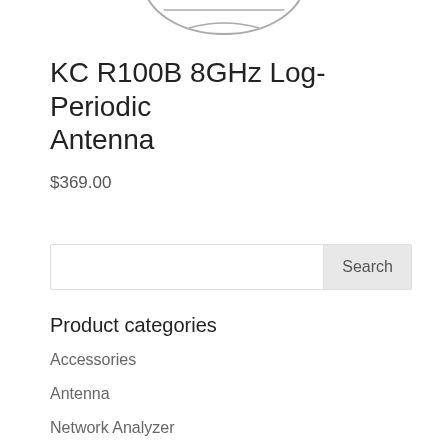[Figure (illustration): Partial product image of an antenna — bottom portion of a circular/elliptical logo or diagram visible at top of page]
KC R100B 8GHz Log-Periodic Antenna
$369.00
Search
Product categories
Accessories
Antenna
Network Analyzer
Spectrum Analyzer